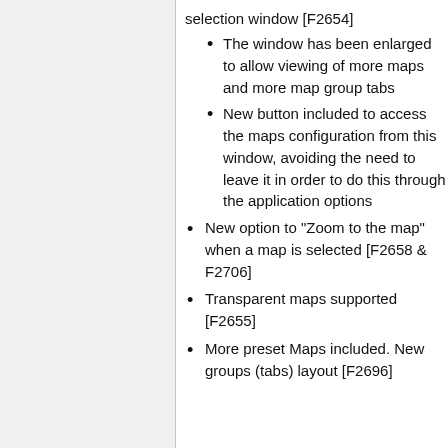selection window [F2654]
The window has been enlarged to allow viewing of more maps and more map group tabs
New button included to access the maps configuration from this window, avoiding the need to leave it in order to do this through the application options
New option to "Zoom to the map" when a map is selected [F2658 & F2706]
Transparent maps supported [F2655]
More preset Maps included. New groups (tabs) layout [F2696]